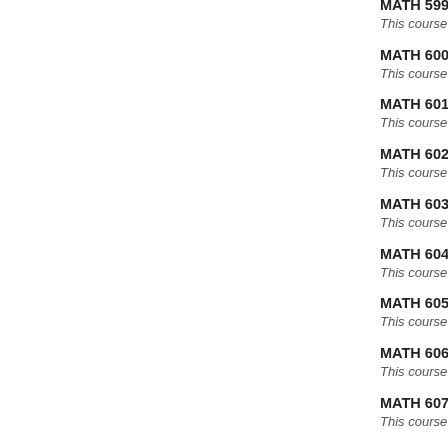MATH 599 (1) Mathematics Teaching Techn...
This course is not eligible for Credit/D/Fail...
MATH 600 (2-15) c Topics in Algebra
This course is not eligible for Credit/D/Fail...
MATH 601 (2-15) c Topics in Analysis
This course is not eligible for Credit/D/Fail...
MATH 602 (2-15) c Topics in Geometry
This course is not eligible for Credit/D/Fail...
MATH 603 (2-15) c Topics in Topology
This course is not eligible for Credit/D/Fail...
MATH 604 (2-15) c Topics in Optimization
This course is not eligible for Credit/D/Fail...
MATH 605 (2-15) c Topics in Applied Mathe...
This course is not eligible for Credit/D/Fail...
MATH 606 (2-15) c Topics in Differential Eq...
This course is not eligible for Credit/D/Fail...
MATH 607 (2-15) c Topics in Numerical Ana...
This course is not eligible for Credit/D/Fail...
MATH 608 (2-15) c Topics in Probability
This course is not eligible for Credit/D/Fail...